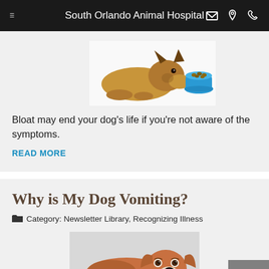South Orlando Animal Hospital
[Figure (photo): German shepherd dog lying down next to a blue bowl of dry dog food on a white background]
Bloat may end your dog's life if you're not aware of the symptoms.
READ MORE
Why is My Dog Vomiting?
Category: Newsletter Library, Recognizing Illness
[Figure (photo): Brown and white dog lying down looking sad on a bed]